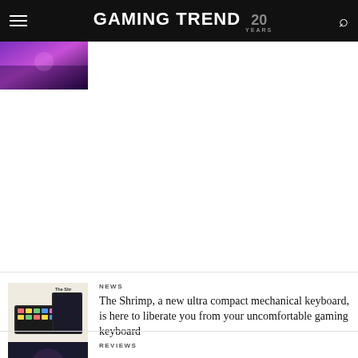GAMING TREND 20 YEARS
[Figure (screenshot): Partial thumbnail of a colorful game image visible at top left below header]
[Figure (photo): Thumbnail of The Shrimp ultra compact mechanical keyboard product, labeled 'The Shr' (truncated), showing colorful compact keyboard device]
NEWS
The Shrimp, a new ultra compact mechanical keyboard, is here to liberate you from your uncomfortable gaming keyboard
REVIEWS